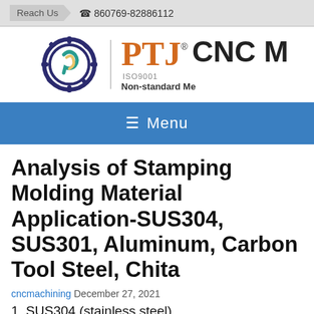Reach Us  860769-82886112
[Figure (logo): PTJ CNC Machining company logo with gear icon, orange PTJ text, ISO9001 label, and Non-standard Me[chanical] tagline]
≡ Menu
Analysis of Stamping Molding Material Application-SUS304, SUS301, Aluminum, Carbon Tool Steel, Chita
cncmachining December 27, 2021
1. SUS304 (stainless steel)